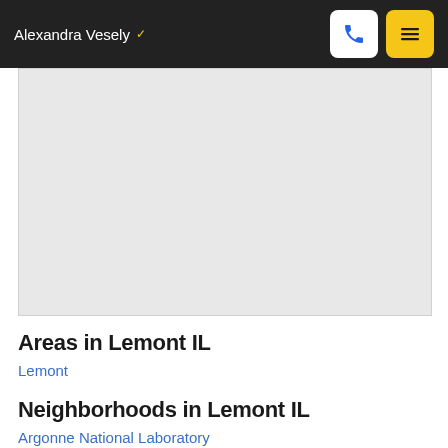Alexandra Vesely
[Figure (map): Light gray map placeholder area showing a map of Lemont IL area]
Areas in Lemont IL
Lemont
Neighborhoods in Lemont IL
Argonne National Laboratory